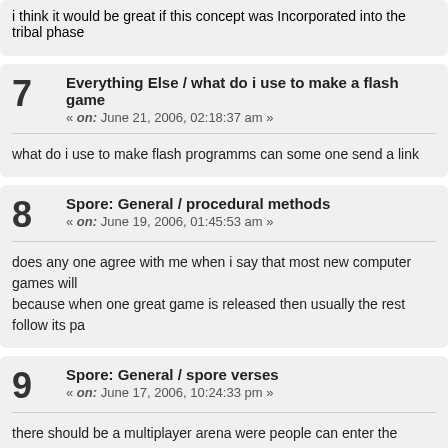i think it would be great if this concept was Incorporated into the tribal phase
7  Everything Else / what do i use to make a flash game
« on: June 21, 2006, 02:18:37 am »
what do i use to make flash programms can some one send a link
8  Spore: General / procedural methods
« on: June 19, 2006, 01:45:53 am »
does any one agree with me when i say that most new computer games will because when one great game is released then usually the rest follow its pa
9  Spore: General / spore verses
« on: June 17, 2006, 10:24:33 pm »
there should be a multiplayer arena were people can enter the creature to ve build point or wateva stage of game ur at cuz then u culd see the variety of c for your game